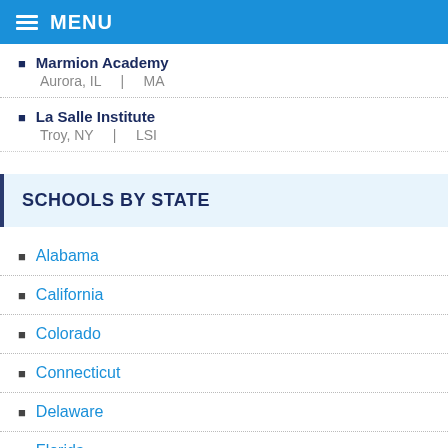MENU
Marmion Academy
Aurora, IL | MA
La Salle Institute
Troy, NY | LSI
SCHOOLS BY STATE
Alabama
California
Colorado
Connecticut
Delaware
Florida